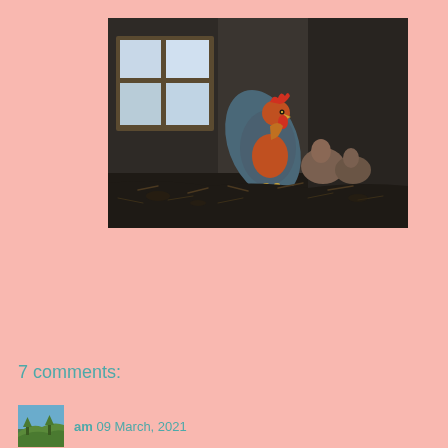[Figure (photo): A rooster with colorful red and orange plumage stands in a dark barn interior next to a wooden window with light coming through. Several hens are visible in the background on straw-covered ground.]
7 comments:
am 09 March, 2021